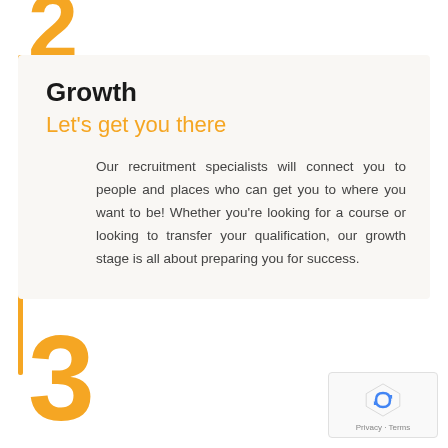Growth
Let's get you there
Our recruitment specialists will connect you to people and places who can get you to where you want to be! Whether you're looking for a course or looking to transfer your qualification, our growth stage is all about preparing you for success.